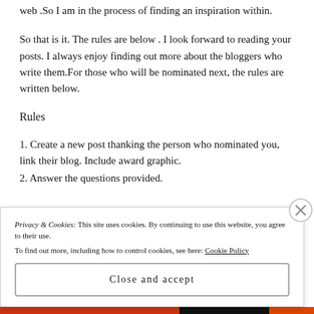web .So I am in the process of finding an inspiration within.
So that is it.  The rules are below .  I look forward to reading your posts.  I always enjoy finding out more about the bloggers who write them.For those who will be nominated next, the rules are written below.
Rules
1. Create a new post thanking the person who nominated you, link their blog. Include award graphic.
2. Answer the questions provided.
Privacy & Cookies: This site uses cookies. By continuing to use this website, you agree to their use.
To find out more, including how to control cookies, see here: Cookie Policy
Close and accept